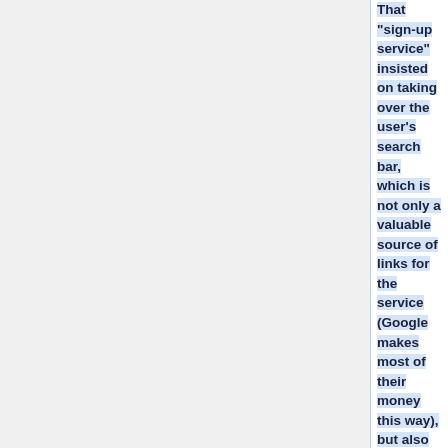That "sign-up service" insisted on taking over the user's search bar, which is not only a valuable source of links for the service (Google makes most of their money this way), but also yet another source of infection vectors. This same pattern will surely repeat itself when COVID vaccination wallets become